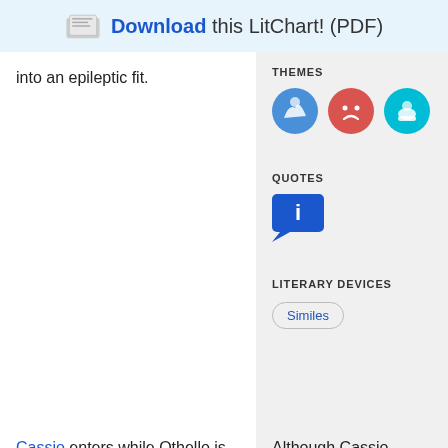Download this LitChart! (PDF)
into an epileptic fit.
THEMES
[Figure (illustration): Three circular theme icons: blue with mountain/cloud shape, red/pink with sad face, teal/cyan with beard face]
QUOTES
[Figure (illustration): Blue speech bubble icon with letter i]
LITERARY DEVICES
Similes
Cassio enters while Othello is unconscious from his fit. Iago informs Cassio that
Although Cassio shows real concern for Othello, Iago skillfully maintains